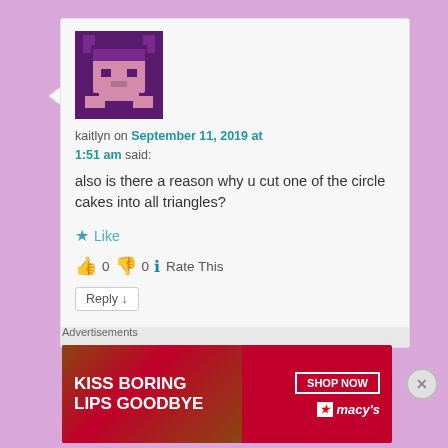[Figure (illustration): Pixel art avatar of a purple character]
kaitlyn on September 11, 2019 at 1:51 am said:
also is there a reason why u cut one of the circle cakes into all triangles?
Like
0  0  Rate This
Reply ↓
Advertisements
[Figure (photo): Macy's advertisement: KISS BORING LIPS GOODBYE with SHOP NOW button and Macy's logo]